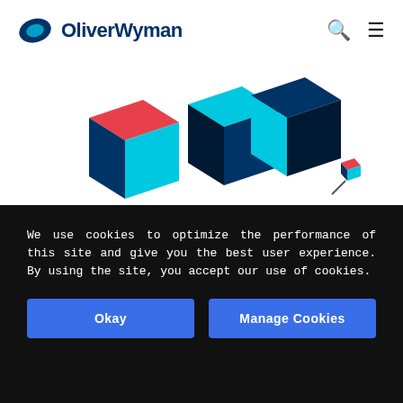OliverWyman
[Figure (illustration): 3D geometric cube shapes in navy blue, cyan/teal, and red colors arranged decoratively, with a small cube on a stick to the right]
WHAT WE DO
We use cookies to optimize the performance of this site and give you the best user experience. By using the site, you accept our use of cookies.
Okay | Manage Cookies